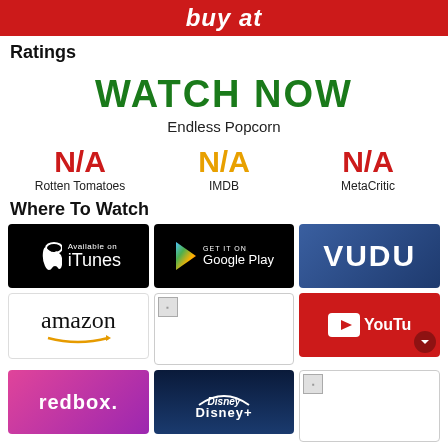buy at
Ratings
WATCH NOW
Endless Popcorn
N/A — Rotten Tomatoes | N/A — IMDB | N/A — MetaCritic
Where To Watch
[Figure (other): iTunes download badge - black background with Apple logo and 'Available on iTunes' text]
[Figure (other): Google Play badge - black background with Play logo and 'GET IT ON Google Play' text]
[Figure (other): VUDU logo badge - blue gradient background with white VUDU text]
[Figure (other): Amazon logo - white background with amazon text and smile arrow]
[Figure (other): Broken image placeholder]
[Figure (other): YouTube logo badge - red background with play button and YouTube text]
[Figure (other): Redbox logo - pink/purple gradient with redbox. text]
[Figure (other): Disney+ logo - dark blue background with Disney+ arc and text]
[Figure (other): Broken image placeholder (bottom right)]